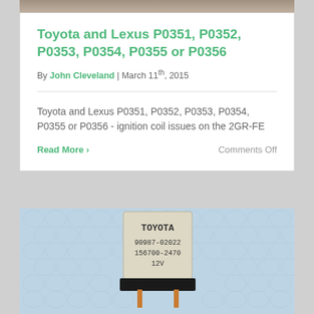[Figure (photo): Partial image at top of page, cropped]
Toyota and Lexus P0351, P0352, P0353, P0354, P0355 or P0356
By John Cleveland | March 11th, 2015
Toyota and Lexus P0351, P0352, P0353, P0354, P0355 or P0356 - ignition coil issues on the 2GR-FE
Read More >
Comments Off
[Figure (photo): Photo of a Toyota relay component (part numbers 90987-02022, 156700-2470, 12V) sitting on bubble wrap packaging]